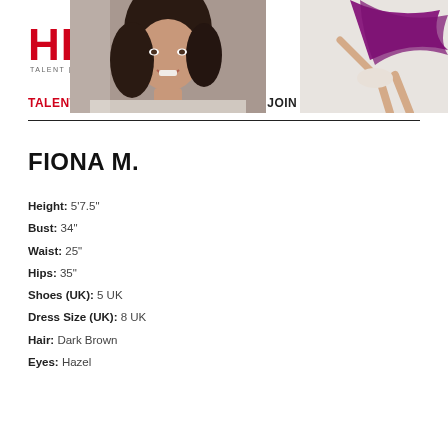[Figure (logo): HEADNOD logo in red bold text with a circular O and tagline: TALENT | DANCE | CHOREOGRAPHY]
TALENT | WORK | CASTING | JOIN | ABOUT | CONTACT
FIONA M.
Height: 5'7.5"
Bust: 34"
Waist: 25"
Hips: 35"
Shoes (UK): 5 UK
Dress Size (UK): 8 UK
Hair: Dark Brown
Eyes: Hazel
[Figure (photo): Portrait photo of a woman with dark wavy hair, smiling, photographed against a light grey background]
[Figure (photo): Dancer in white outfit holding a flowing purple/mauve fabric, legs visible, on a white background, cropped]